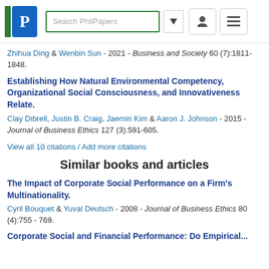PhilPapers — Search PhilPapers header with logo and navigation
Zhihua Ding & Wenbin Sun - 2021 - Business and Society 60 (7):1811-1848.
Establishing How Natural Environmental Competency, Organizational Social Consciousness, and Innovativeness Relate.
Clay Dibrell, Justin B. Craig, Jaemin Kim & Aaron J. Johnson - 2015 - Journal of Business Ethics 127 (3):591-605.
View all 10 citations / Add more citations
Similar books and articles
The Impact of Corporate Social Performance on a Firm's Multinationality.
Cyril Bouquet & Yuval Deutsch - 2008 - Journal of Business Ethics 80 (4):755 - 769.
Corporate Social and Financial Performance: Do Empirical...